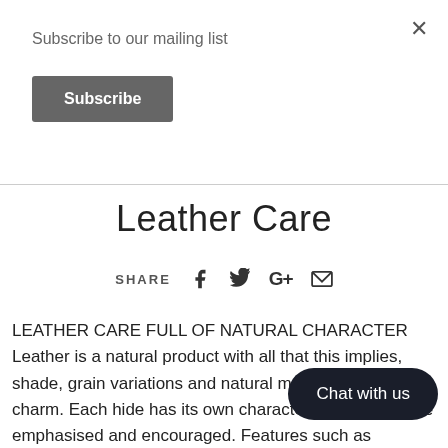Subscribe to our mailing list
Subscribe
Leather Care
SHARE
LEATHER CARE FULL OF NATURAL CHARACTER Leather is a natural product with all that this implies, shade, grain variations and natural markings add to its charm. Each hide has its own characteristics. These are emphasised and encouraged. Features such as ori... and sex of animal all help. Growth marks... commonplace on leather furniture an... al' something which distinguishes leather from the
Chat with us